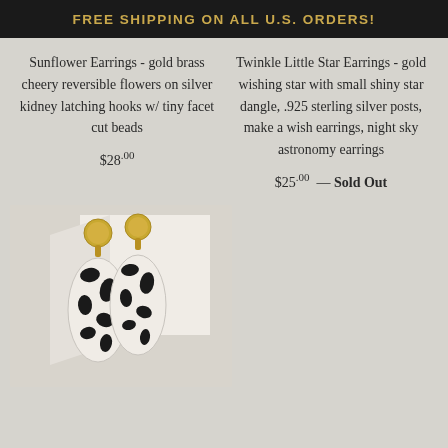FREE SHIPPING ON ALL U.S. ORDERS!
Sunflower Earrings - gold brass cheery reversible flowers on silver kidney latching hooks w/ tiny facet cut beads
$28.00
Twinkle Little Star Earrings - gold wishing star with small shiny star dangle, .925 sterling silver posts, make a wish earrings, night sky astronomy earrings
$25.00 — Sold Out
[Figure (photo): Photo of black and white cow print acrylic dangle earrings with gold circular stud tops, displayed against a white geometric backdrop]